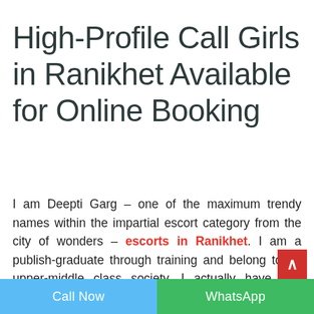High-Profile Call Girls in Ranikhet Available for Online Booking
I am Deepti Garg – one of the maximum trendy names within the impartial escort category from the city of wonders – escorts in Ranikhet. I am a publish-graduate through training and belong to an upper-middle class society. I actually have had convent training and I actually have a sturdy faith in God. Well, that is one side of me. The differen...
Call Now | WhatsApp